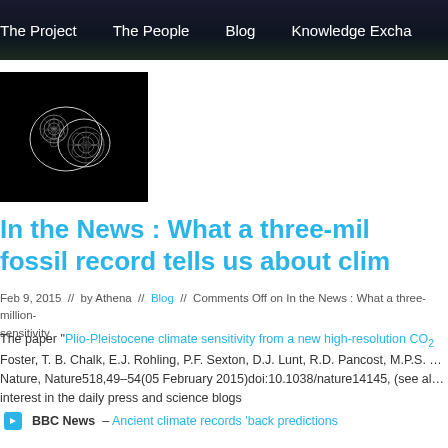The Project   The People   Blog   Knowledge Exchange
[Figure (photo): Black and white microscopic fossil image (foraminifera) on black background]
In the News : What a three-million-year fossil record tells us about climate sensitivity
Feb 9, 2015  //  by Athena  //  Blog  //  Comments Off on In the News : What a three-million-year fossil record tells us about climate sensitivity
The paper "Plio-Pleistocene climate sensitivity from a new high-resolution CO2 record" by G.L. Foster, T. B. Chalk, E.J. Rohling, P.F. Sexton, D.J. Lunt, R.D. Pancost, M.P.S. ..., published in Nature, Nature518,49–54(05 February 2015)doi:10.1038/nature14145, (see also...) has attracted interest in the daily press and science blogs
BBC News  – Ancient climate records 'back predictions